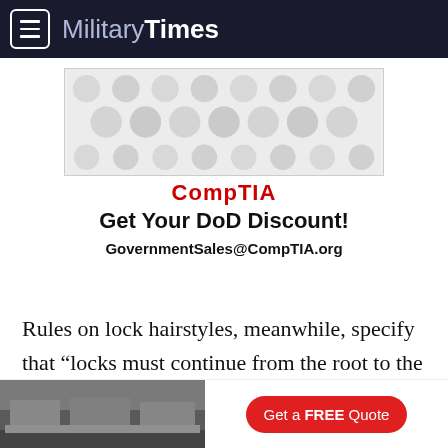Military Times
[Figure (other): CompTIA advertisement banner with dot/bubble pattern background, showing red CompTIA logo text, 'Get Your DoD Discount!' headline, and 'GovernmentSales@CompTIA.org' contact email]
Rules on lock hairstyles, meanwhile, specify that “locks must continue from the root to the end of the hair in one direction (no zig-zagging, curving, or ending before the end of the lock to dangle as a wisp or
[Figure (photo): Bottom advertisement bar showing a kitchen photo on the left and a red 'Get a FREE Quote' button on the right]